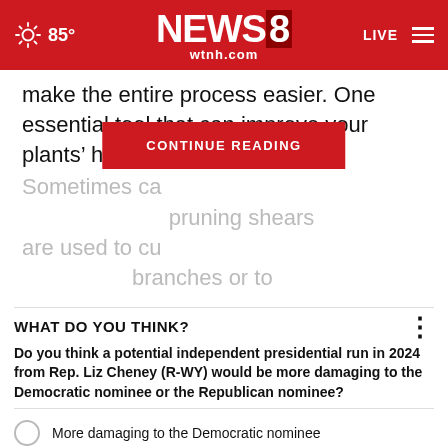85° NEWS8 wtnh.com LIVE
make the entire process easier. One essential tool that can improve your plants' health is pruning shears. Sometimes ca... pruning shears are used to cu... branches or to
CONTINUE READING
WHAT DO YOU THINK?
Do you think a potential independent presidential run in 2024 from Rep. Liz Cheney (R-WY) would be more damaging to the Democratic nominee or the Republican nominee?
More damaging to the Democratic nominee
More damaging to the Republican nominee
It would be equally damaging for both
It wouldn't be damaging to either one